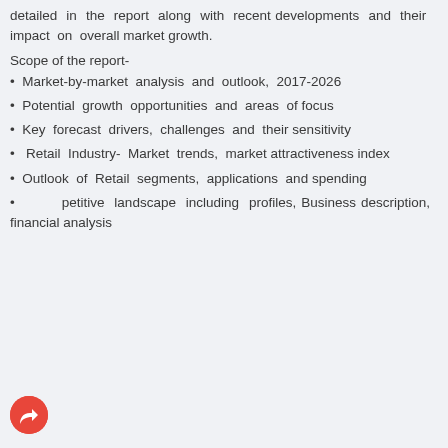detailed in the report along with recent developments and their impact on overall market growth.
Scope of the report-
Market-by-market analysis and outlook, 2017-2026
Potential growth opportunities and areas of focus
Key forecast drivers, challenges and their sensitivity
Retail Industry- Market trends, market attractiveness index
Outlook of Retail segments, applications and spending
Competitive landscape including profiles, Business description, financial analysis